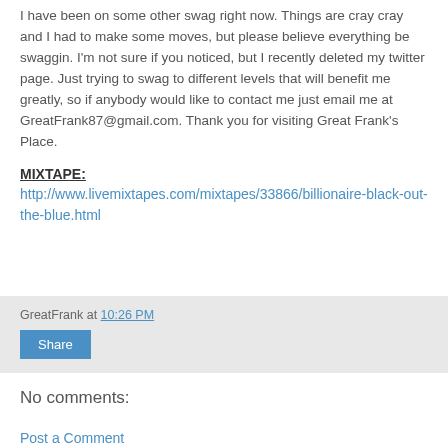I have been on some other swag right now. Things are cray cray and I had to make some moves, but please believe everything be swaggin. I'm not sure if you noticed, but I recently deleted my twitter page. Just trying to swag to different levels that will benefit me greatly, so if anybody would like to contact me just email me at GreatFrank87@gmail.com. Thank you for visiting Great Frank's Place.
MIXTAPE:
http://www.livemixtapes.com/mixtapes/33866/billionaire-black-out-the-blue.html
GreatFrank at 10:26 PM
Share
No comments:
Post a Comment